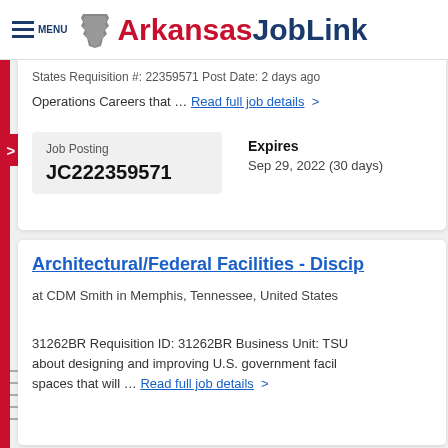[Figure (logo): Arkansas JobLink logo with state silhouette and hamburger menu icon]
States Requisition #: 22359571 Post Date: 2 days ago
Operations Careers that … Read full job details >
Job Posting
JC222359571
Expires
Sep 29, 2022 (30 days)
Architectural/Federal Facilities - Discip
at CDM Smith in Memphis, Tennessee, United States
31262BR Requisition ID: 31262BR Business Unit: TSU about designing and improving U.S. government facil spaces that will … Read full job details >